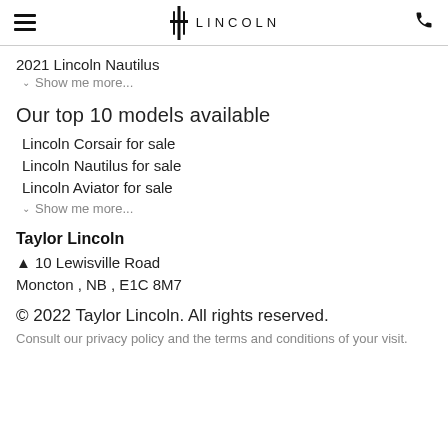LINCOLN
2021 Lincoln Nautilus
Show me more...
Our top 10 models available
Lincoln Corsair for sale
Lincoln Nautilus for sale
Lincoln Aviator for sale
Show me more...
Taylor Lincoln
10 Lewisville Road
Moncton , NB , E1C 8M7
© 2022 Taylor Lincoln. All rights reserved.
Consult our privacy policy and the terms and conditions of your visit.